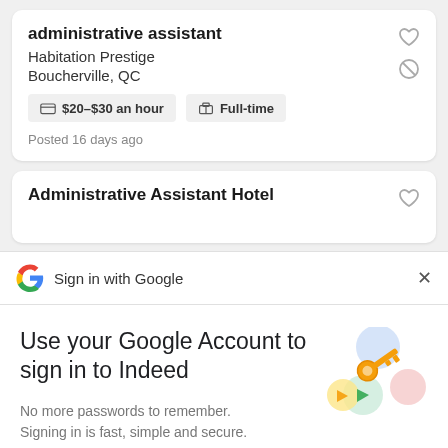administrative assistant
Habitation Prestige
Boucherville, QC
$20–$30 an hour   Full-time
Posted 16 days ago
Administrative Assistant Hotel
Sign in with Google
Use your Google Account to sign in to Indeed
No more passwords to remember.
Signing in is fast, simple and secure.
[Figure (illustration): Google sign-in illustration showing keys and colorful circular elements]
Continue